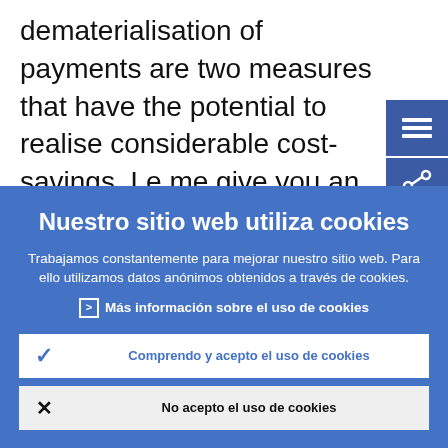dematerialisation of payments are two measures that have the potential to realise considerable cost-savings. Le me give you an example: Demand fo cash is growing every year (yearly
Nuestro sitio web utiliza cookies
Trabajamos constantemente para mejorar nuestro sitio web. Para ello utilizamos datos anónimos obtenidos a través de cookies.
Más información sobre el uso de cookies
Comprendo y acepto el uso de cookies
No acepto el uso de cookies